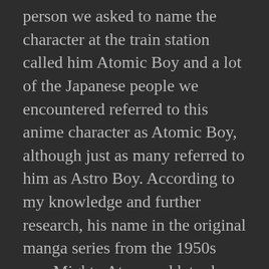person we asked to name the character at the train station called him Atomic Boy and a lot of the Japanese people we encountered referred to this anime character as Atomic Boy, although just as many referred to him as Astro Boy. According to my knowledge and further research, his name in the original manga series from the 1950s was Mighty Atom and later he became Astro Boy. (MightyAtom pic) We continued to refer to him as Atomic Boy and we relied on him to get us everywhere and he never let us down! We love Atomic Boy!